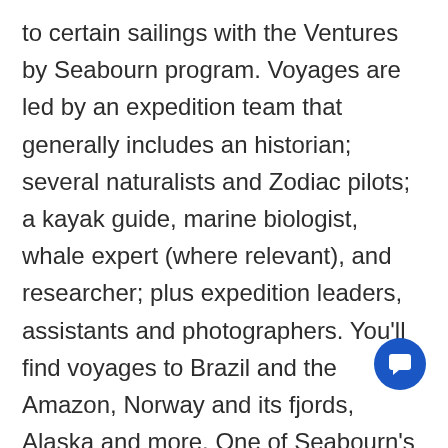to certain sailings with the Ventures by Seabourn program. Voyages are led by an expedition team that generally includes an historian; several naturalists and Zodiac pilots; a kayak guide, marine biologist, whale expert (where relevant), and researcher; plus expedition leaders, assistants and photographers. You'll find voyages to Brazil and the Amazon, Norway and its fjords, Alaska and more. One of Seabourn's most popular options is its Antarctica and Patagonia program, aboard Seabourn Quest. On the White Continent, expect a knowledgeable expedition team, complimentary Zodiac
[Figure (other): Blue circular chat button icon with speech bubble symbol in bottom right corner]